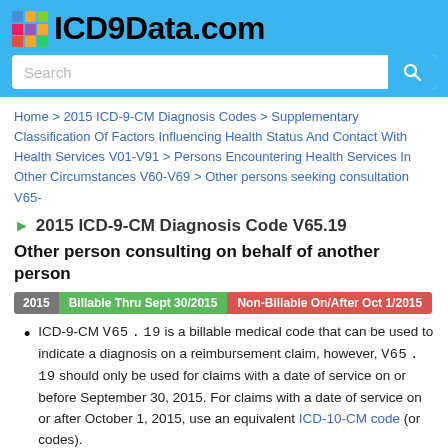[Figure (logo): ICD9Data.com logo with colorful grid icon and bold text]
Home > 2015 ICD-9-CM Diagnosis Codes > Supplementary Classification Of Factors Influencing Health Status And Contact With Health Services V01-V91 > Persons Encountering Health Services In Other Circumstances V60-V69 > Other persons seeking consultation V65-
2015 ICD-9-CM Diagnosis Code V65.19
Other person consulting on behalf of another person
2015 | Billable Thru Sept 30/2015 | Non-Billable On/After Oct 1/2015
ICD-9-CM V65.19 is a billable medical code that can be used to indicate a diagnosis on a reimbursement claim, however, V65.19 should only be used for claims with a date of service on or before September 30, 2015. For claims with a date of service on or after October 1, 2015, use an equivalent ICD-10-CM code (or codes).